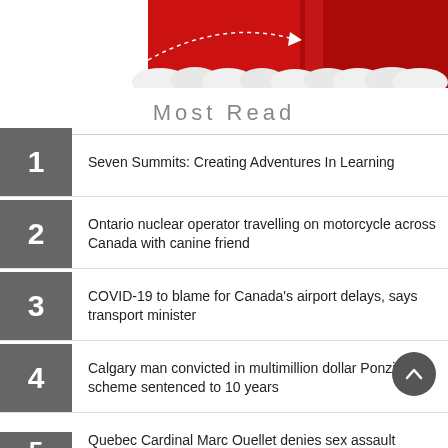[Figure (illustration): Partial view of a red rocket or missile illustration with white clouds and a dotted flight path with arrow, on a red background (top portion of image cropped at top of page).]
Most Read
1 Seven Summits: Creating Adventures In Learning
2 Ontario nuclear operator travelling on motorcycle across Canada with canine friend
3 COVID-19 to blame for Canada's airport delays, says transport minister
4 Calgary man convicted in multimillion dollar Ponzi scheme sentenced to 10 years
5 Quebec Cardinal Marc Ouellet denies sex assault allegations, says he is being defamed